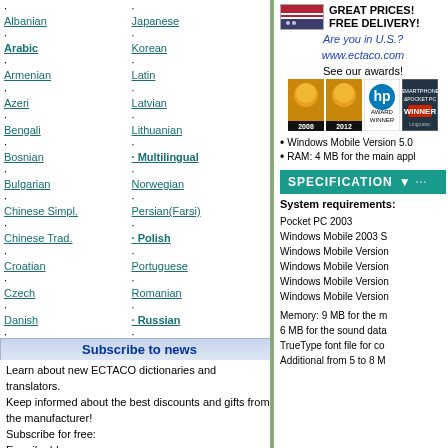Albanian
Arabic (bold)
Armenian
Azeri
Bengali
Bosnian
Bulgarian
Chinese Simpl.
Chinese Trad.
Croatian
Czech
Danish
Dutch
English
Estonian
Finnish
French (bold)
German
Greek
Hebrew
Hindi
Hungarian
Indonesian
Italian
Japanese
Korean
Latin
Latvian
Lithuanian
Multilingual (bold)
Norwegian
Persian(Farsi)
Polish (bold)
Portuguese
Romanian
Russian (bold)
Serbian
Slovak
Slovenian
Spanish (bold)
Swedish
Tagalog (Filipino)
Tatar
Thai
Turkish (bold)
Ukrainian
Vietnamese
Yiddish
Subscribe to news
Learn about new ECTACO dictionaries and translators.
Keep informed about the best discounts and gifts from the manufacturer!
Subscribe for free:
E-mail address:
GREAT PRICES! FREE DELIVERY!
Are you in U.S.?
www.ectaco.com
See our awards!
Windows Mobile Version 5.0
RAM: 4 MB for the main appl
SPECIFICATION
System requirements:
Pocket PC 2003
Windows Mobile 2003 S
Windows Mobile Version
Windows Mobile Version
Windows Mobile Version
Windows Mobile Version
Memory: 9 MB for the m
6 MB for the sound data
TrueType font file for co
Additional from 5 to 8 M